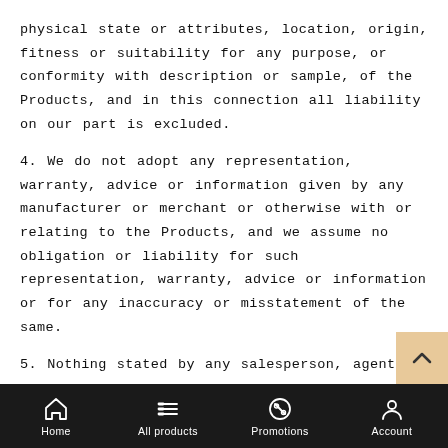physical state or attributes, location, origin, fitness or suitability for any purpose, or conformity with description or sample, of the Products, and in this connection all liability on our part is excluded.
4. We do not adopt any representation, warranty, advice or information given by any manufacturer or merchant or otherwise with or relating to the Products, and we assume no obligation or liability for such representation, warranty, advice or information or for any inaccuracy or misstatement of the same.
5. Nothing stated by any salesperson, agent,
Home   All products   Promotions   Account